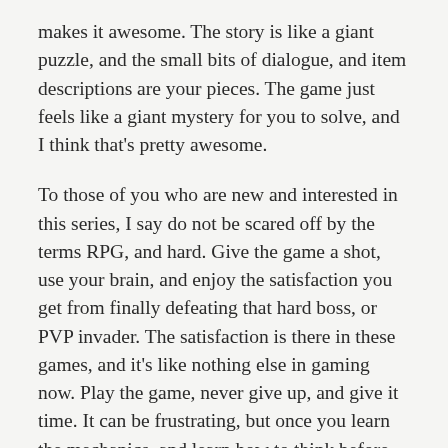makes it awesome.  The story is like a giant puzzle, and the small bits of dialogue, and item descriptions are your pieces.  The game just feels like a giant mystery for you to solve, and I think that's pretty awesome.
To those of you who are new and interested in this series, I say do not be scared off by the terms RPG, and hard.  Give the game a shot, use your brain, and enjoy the satisfaction you get from finally defeating that hard boss, or PVP invader.  The satisfaction is there in these games, and it's like nothing else in gaming now.  Play the game, never give up, and give it time.  It can be frustrating, but once you learn the mechanics, and learn how to think before you leap, there is a very good chance you will find a new rewarding, and addicting